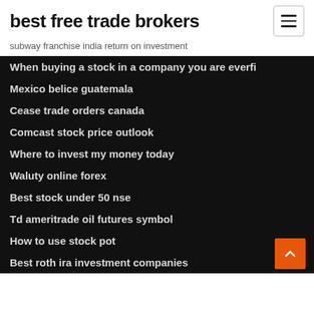best free trade brokers
subway franchise india return on investment
When buying a stock in a company you are everfi
Mexico belice guatemala
Cease trade orders canada
Comcast stock price outlook
Where to invest my money today
Waluty online forex
Best stock under 50 nse
Td ameritrade oil futures symbol
How to use stock pot
Best roth ira investment companies